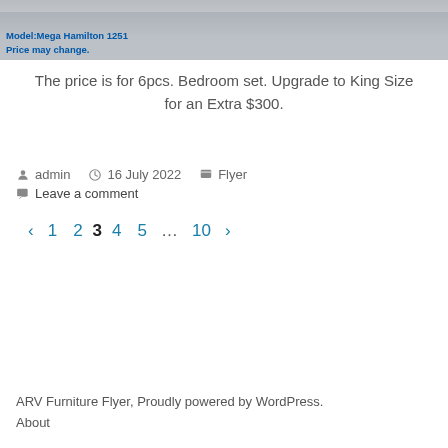[Figure (photo): Bedroom furniture product image (top portion cropped). Overlay text reads: Model:Mega Hamilton 1251 / Price may change.]
The price is for 6pcs. Bedroom set. Upgrade to King Size for an Extra $300.
admin  16 July 2022  Flyer  Leave a comment
‹  1  2  3  4  5  …  10  ›
ARV Furniture Flyer, Proudly powered by WordPress.
About